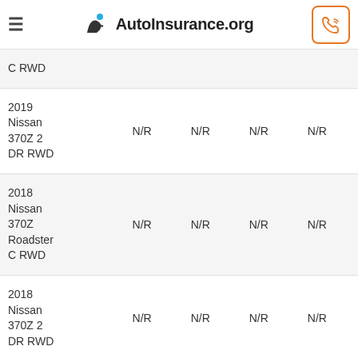AutoInsurance.org
| Vehicle |  |  |  |  |
| --- | --- | --- | --- | --- |
| C RWD |  |  |  |  |
| 2019 Nissan 370Z 2 DR RWD | N/R | N/R | N/R | N/R |
| 2018 Nissan 370Z Roadster C RWD | N/R | N/R | N/R | N/R |
| 2018 Nissan 370Z 2 DR RWD | N/R | N/R | N/R | N/R |